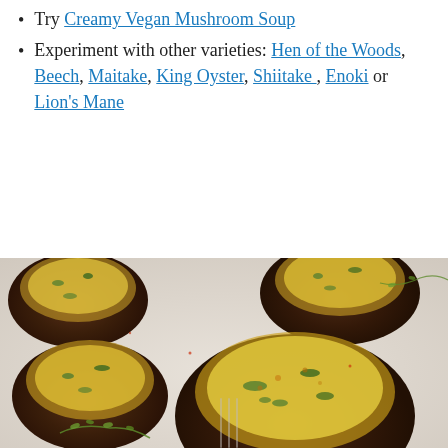Try Creamy Vegan Mushroom Soup
Experiment with other varieties: Hen of the Woods, Beech, Maitake, King Oyster, Shiitake , Enoki or Lion's Mane
[Figure (photo): Four stuffed portobello mushrooms filled with a creamy spinach and cheese mixture, topped with golden breadcrumbs, arranged on a white surface with sprigs of fresh thyme]